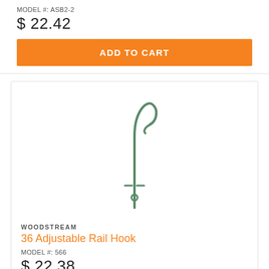MODEL #: ASB2-2
$ 22.42
ADD TO CART
[Figure (photo): Product image of a green metal 36 Adjustable Rail Hook with a shepherd's hook curve at the top and an adjustable clamp mechanism at the bottom]
WOODSTREAM
36 Adjustable Rail Hook
MODEL #: 566
$ 22.38